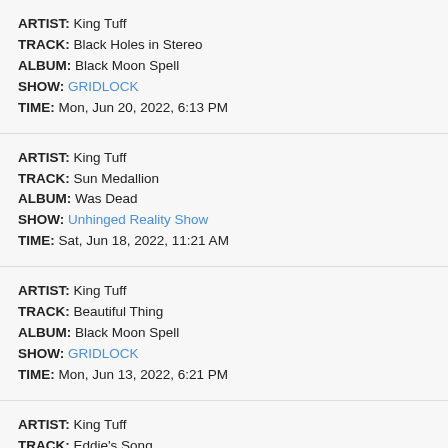ARTIST: King Tuff | TRACK: Black Holes in Stereo | ALBUM: Black Moon Spell | SHOW: GRIDLOCK | TIME: Mon, Jun 20, 2022, 6:13 PM
ARTIST: King Tuff | TRACK: Sun Medallion | ALBUM: Was Dead | SHOW: Unhinged Reality Show | TIME: Sat, Jun 18, 2022, 11:21 AM
ARTIST: King Tuff | TRACK: Beautiful Thing | ALBUM: Black Moon Spell | SHOW: GRIDLOCK | TIME: Mon, Jun 13, 2022, 6:21 PM
ARTIST: King Tuff | TRACK: Eddie's Song | ALBUM: Black Moon Spell | SHOW: Asleep at the Wheel